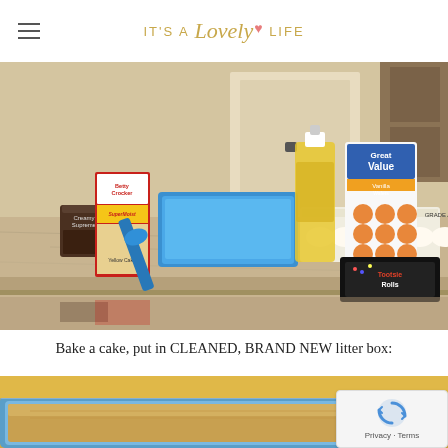IT'S A Lovely LIFE
[Figure (photo): Kitchen counter with baking ingredients: Betty Crocker SuperMoist cake mix, chocolate frosting, a blue litter box with blue scoop, a carton of large grade AA eggs, a bottle of oil, Great Value Vanilla Wafers box, and a package of Tootsie Rolls.]
Bake a cake, put in CLEANED, BRAND NEW litter box:
[Figure (photo): Close-up of a blue/gray litter box pan being used as a baking dish, with a baked cake visible inside.]